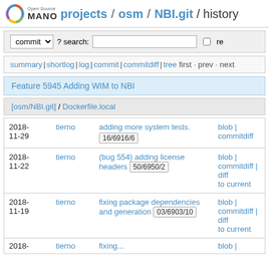Open Source MANO projects / osm / NBI.git / history
commit ? search: re
summary | shortlog | log | commit | commitdiff | tree first · prev · next
Feature 5945 Adding WIM to NBI
[osm/NBI.git] / Dockerfile.local
| date | author | message | links |
| --- | --- | --- | --- |
| 2018-11-29 | tierno | adding more system tests. 16/6916/6 | blob | commitdiff |
| 2018-11-22 | tierno | (bug 554) adding license headers 50/6950/2 | blob | commitdiff | diff to current |
| 2018-11-19 | tierno | fixing package dependencies and generation 03/6903/10 | blob | commitdiff | diff to current |
| 2018- | tierno | fixing ... | blob | |